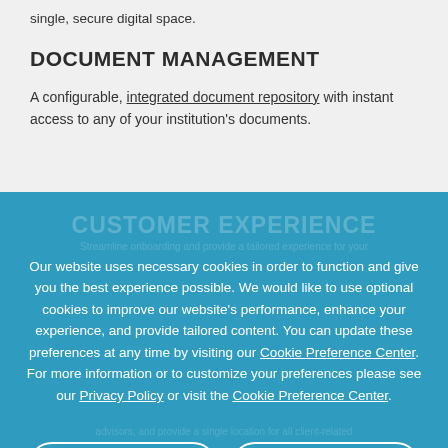single, secure digital space.
DOCUMENT MANAGEMENT
A configurable, integrated document repository with instant access to any of your institution's documents.
Our website uses necessary cookies in order to function and give you the best experience possible. We would like to use optional cookies to improve our website's performance, enhance your experience, and provide tailored content. You can update these preferences at any time by visiting our Cookie Preference Center. For more information or to customize your preferences please see our Privacy Policy or visit the Cookie Preference Center.
Accept
Manage